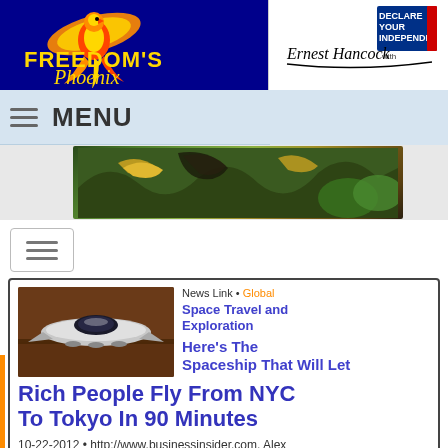[Figure (logo): Freedom's Phoenix logo with phoenix bird and blue background]
[Figure (logo): Declare Your Independence with Ernest Hancock logo]
MENU
[Figure (illustration): Banner image with colorful abstract illustration]
[Figure (other): Sidebar menu button icon]
News Link • Global
Space Travel and Exploration
Here's The Spaceship That Will Let Rich People Fly From NYC To Tokyo In 90 Minutes
10-22-2012 • http://www.businessinsider.com, Alex Davies